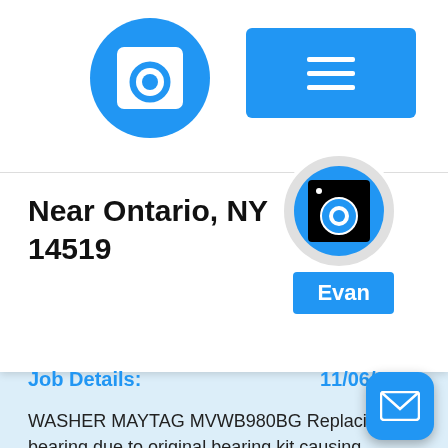[Figure (logo): Blue circle with white washing machine icon (app logo)]
[Figure (screenshot): Blue hamburger menu button (three horizontal lines)]
Near Ontario, NY 14519
[Figure (logo): Circular profile avatar with blue circle and washing machine icon, labeled Evan]
Evan
Job Details:
11/06/2019
WASHER MAYTAG MVWB980BG Replacing bearing due to original bearing kit causing squealing noise since prior repair. Replaced bearing. Reassembled unit ran diagnostic cycle ran unit on high spin. Unit tested goo